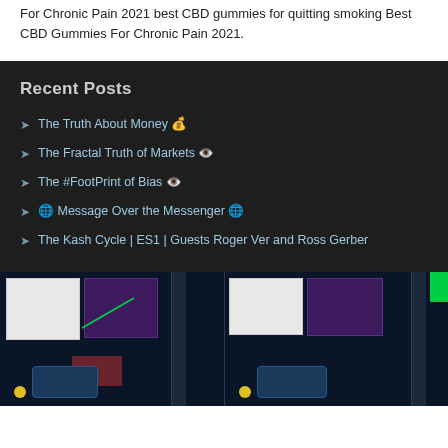For Chronic Pain 2021 best CBD gummies for quitting smoking Best CBD Gummies For Chronic Pain 2021.
Recent Posts
The Truth About Money 💰
The Fractal Truth of Markets 👁️
The #FootPrint of Bias 👁️
🌐 Message Over the Messenger 🌐
The Kash Cycle | ES1 | Guests Roger Ver and Ross Gerber
[Figure (screenshot): Two side-by-side trading chart screenshots showing financial market data with purple order book panels, white text boxes, green chart lines, and yellow dot indicators with blue chat bubbles at the bottom.]